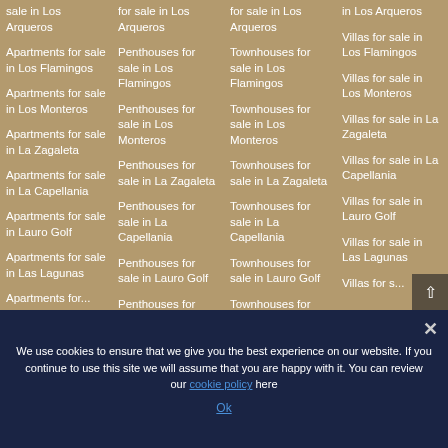sale in Los Arqueros
for sale in Los Arqueros
for sale in Los Arqueros
in Los Arqueros
Apartments for sale in Los Flamingos
Penthouses for sale in Los Flamingos
Townhouses for sale in Los Flamingos
Villas for sale in Los Flamingos
Apartments for sale in Los Monteros
Penthouses for sale in Los Monteros
Townhouses for sale in Los Monteros
Villas for sale in Los Monteros
Apartments for sale in La Zagaleta
Penthouses for sale in La Zagaleta
Townhouses for sale in La Zagaleta
Villas for sale in La Zagaleta
Apartments for sale in La Capellania
Penthouses for sale in La Capellania
Townhouses for sale in La Capellania
Villas for sale in La Capellania
Apartments for sale in Lauro Golf
Penthouses for sale in Lauro Golf
Townhouses for sale in Lauro Golf
Villas for sale in Lauro Golf
Apartments for sale in Las Lagunas
Penthouses for sale in Las Lagunas
Townhouses for sale in Las Lagunas
Villas for sale in Las Lagunas
We use cookies to ensure that we give you the best experience on our website. If you continue to use this site we will assume that you are happy with it. You can review our cookie policy here
Ok